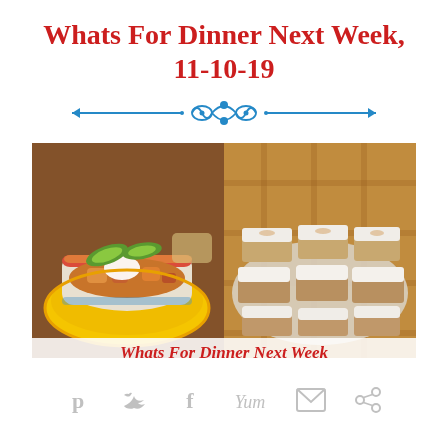Whats For Dinner Next Week, 11-10-19
[Figure (illustration): Decorative blue ornamental divider with arrows on each side]
[Figure (photo): Two food photos side by side: left shows a bowl of soup with avocado and sour cream toppings on a yellow plate; right shows a plate of frosted bar desserts. Both images have the overlay text 'Whats For Dinner Next Week' in red italic at the bottom.]
Whats For Dinner Next Week
[Figure (infographic): Social media share icons row: Pinterest (P), Twitter (bird), Facebook (f), Yummly (Yum), Email (envelope), and a camera/share icon, all in light gray]